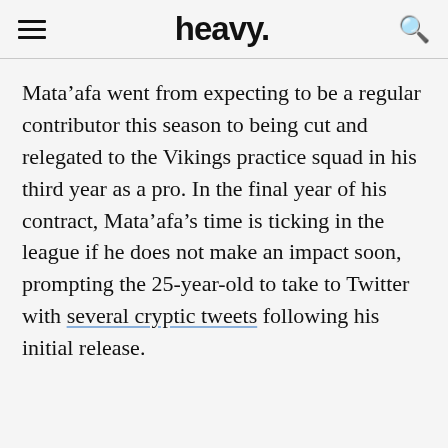heavy.
Mata’afa went from expecting to be a regular contributor this season to being cut and relegated to the Vikings practice squad in his third year as a pro. In the final year of his contract, Mata’afa’s time is ticking in the league if he does not make an impact soon, prompting the 25-year-old to take to Twitter with several cryptic tweets following his initial release.